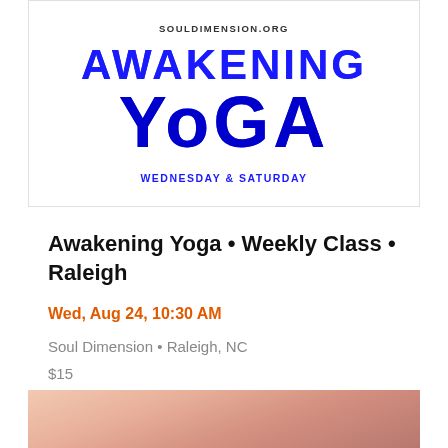[Figure (illustration): Awakening Yoga promotional banner with site URL at top, large bold blue text reading AWAKENING YOGA, and subtitle WEDNESDAY & SATURDAY]
Awakening Yoga • Weekly Class • Raleigh
Wed, Aug 24, 10:30 AM
Soul Dimension • Raleigh, NC
$15
[Figure (photo): Partial photo of hands/body in yoga pose at bottom of page]